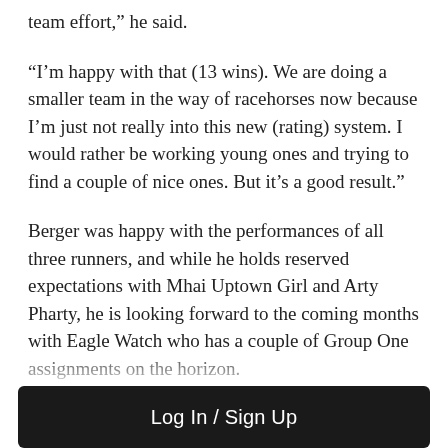team effort,” he said.
“I’m happy with that (13 wins). We are doing a smaller team in the way of racehorses now because I’m just not really into this new (rating) system. I would rather be working young ones and trying to find a couple of nice ones. But it’s a good result.”
Berger was happy with the performances of all three runners, and while he holds reserved expectations with Mhai Uptown Girl and Arty Pharty, he is looking forward to the coming months with Eagle Watch who has a couple of Group One assignments on the horizon.
“Draws are everything now and they got some nice trips
Log In / Sign Up